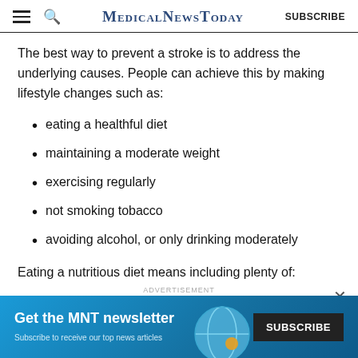MedicalNewsToday | SUBSCRIBE
The best way to prevent a stroke is to address the underlying causes. People can achieve this by making lifestyle changes such as:
eating a healthful diet
maintaining a moderate weight
exercising regularly
not smoking tobacco
avoiding alcohol, or only drinking moderately
Eating a nutritious diet means including plenty of:
[Figure (infographic): MNT newsletter advertisement banner: 'Get the MNT newsletter. Subscribe to receive our top news articles.' with a SUBSCRIBE button on a blue background with a globe graphic.]